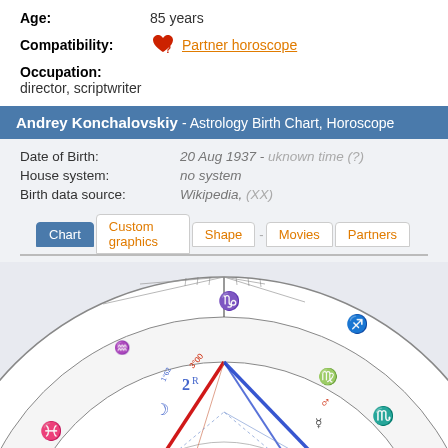Age: 85 years
Compatibility: Partner horoscope
Occupation: director, scriptwriter
Andrey Konchalovskiy - Astrology Birth Chart, Horoscope
Date of Birth: 20 Aug 1937 - uknown time (?)
House system: no system
Birth data source: Wikipedia, (XX)
[Figure (other): Astrology birth chart / horoscope wheel for Andrey Konchalovskiy showing zodiac signs including Capricorn, Sagittarius, Aquarius, Scorpio, Virgo, Pisces, Libra, with planetary symbols Jupiter, Mars, Moon, Saturn and aspect lines in blue and red inside the chart wheel.]